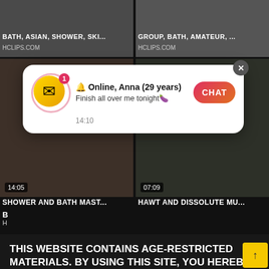BATH, ASIAN, SHOWER, SKI...
HCLIPS.COM
GROUP, BATH, AMATEUR, ...
HCLIPS.COM
[Figure (screenshot): Notification popup showing Online, Anna (29 years) with chat button and envelope icon]
14:05
07:09
SHOWER AND BATH MAST...
HAWT AND DISSOLUTE MU...
THIS WEBSITE CONTAINS AGE-RESTRICTED MATERIALS. BY USING THIS SITE, YOU HEREBY VERIFY THAT YOU ARE AGE 18 AND OLDER AND AGREE TO COMPLY WITH ALL THE PRIVACY POLICY. WE USE COOKIES TO PROVIDE YOU THE BEST POSSIBLE EXPERIENCE ON OUR WEBSITE AND TO MONITOR WEBSITE TRAFFIC. COOKIES POLICY.